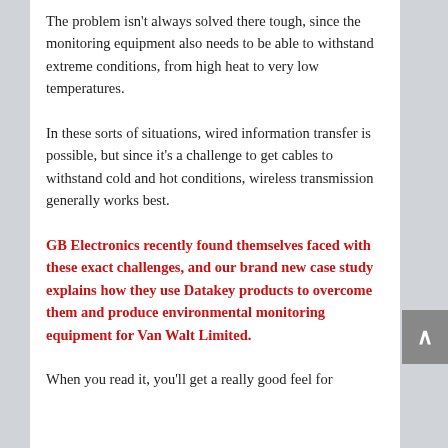The problem isn't always solved there tough, since the monitoring equipment also needs to be able to withstand extreme conditions, from high heat to very low temperatures.
In these sorts of situations, wired information transfer is possible, but since it's a challenge to get cables to withstand cold and hot conditions, wireless transmission generally works best.
GB Electronics recently found themselves faced with these exact challenges, and our brand new case study explains how they use Datakey products to overcome them and produce environmental monitoring equipment for Van Walt Limited.
When you read it, you'll get a really good feel for